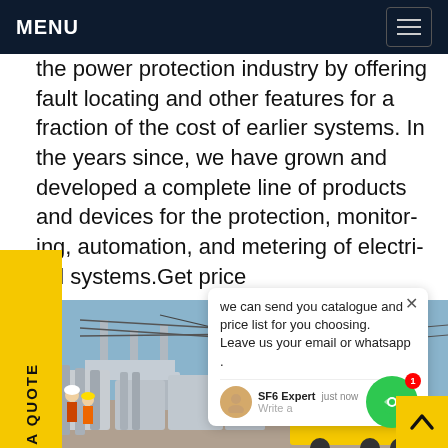MENU
the power protection industry by offering fault locating and other features for a fraction of the cost of earlier systems. In the years since, we have grown and developed a complete line of products and devices for the protection, monitoring, automation, and metering of electrical systems.Get price
REQUEST A QUOTE
we can send you catalogue and price list for you choosing.
Leave us your email or whatsapp .
SF6 Expert   just now
Write a
[Figure (photo): Electrical substation with large transformers, high-voltage equipment, overhead lines, and a yellow maintenance vehicle marked 陕AIV 0725. Workers in hard hats visible in foreground.]